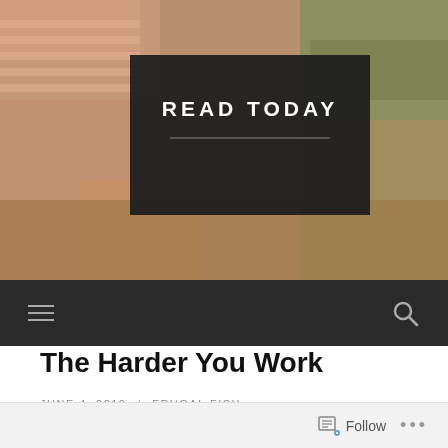[Figure (photo): Hero image of a person in a striped shirt with a dark overlay box in the center containing the text READ TODAY and a horizontal line beneath it. Background shows hands and fabric.]
READ TODAY
Navigation bar with hamburger menu icon on the left and search icon on the right
The Harder You Work
JUNE 4, 2019 / FRUGAL FISH
Follow ...